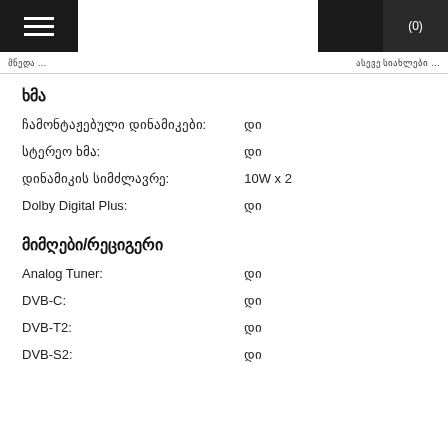Menu (0)
... | ასევე სიახლები ...
ხმა
ჩამონტაჟებული დინამიკები: დი
სტერეო ხმა: დი
დინამიკის სიმძლავრე: 10W x 2
Dolby Digital Plus: დი
მიმღები/რეციგერი
Analog Tuner: დი
DVB-C: დი
DVB-T2: დი
DVB-S2: დი